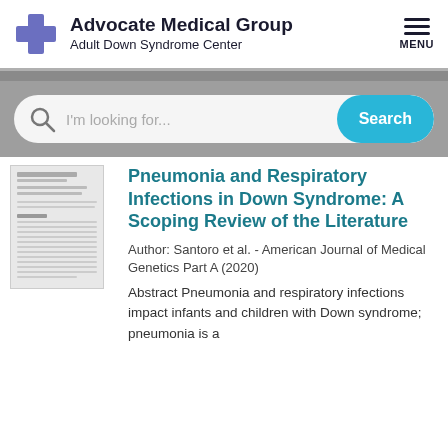Advocate Medical Group Adult Down Syndrome Center
[Figure (screenshot): Search bar with magnifying glass icon, placeholder text 'I'm looking for...' and a teal Search button]
[Figure (photo): Thumbnail of a journal article page]
Pneumonia and Respiratory Infections in Down Syndrome: A Scoping Review of the Literature
Author: Santoro et al. - American Journal of Medical Genetics Part A (2020)
Abstract Pneumonia and respiratory infections impact infants and children with Down syndrome; pneumonia is a